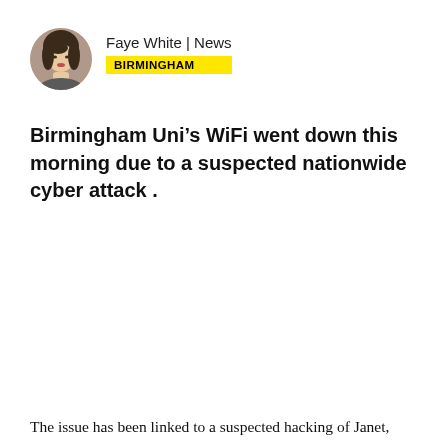Faye White | News
BIRMINGHAM
Birmingham Uni’s WiFi went down this morning due to a suspected nationwide cyber attack .
The issue has been linked to a suspected hacking of Janet,